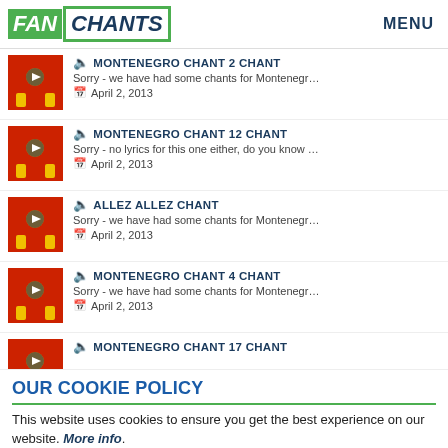FAN CHANTS | MENU
MONTENEGRO CHANT 2 CHANT | Sorry - we have had some chants for Montenegr... | April 2, 2013
MONTENEGRO CHANT 12 CHANT | Sorry - no lyrics for this one either, do you know ... | April 2, 2013
ALLEZ ALLEZ CHANT | Sorry - we have had some chants for Montenegr... | April 2, 2013
MONTENEGRO CHANT 4 CHANT | Sorry - we have had some chants for Montenegr... | April 2, 2013
MONTENEGRO CHANT 17 CHANT
OUR COOKIE POLICY
This website uses cookies to ensure you get the best experience on our website. More info.
Got it